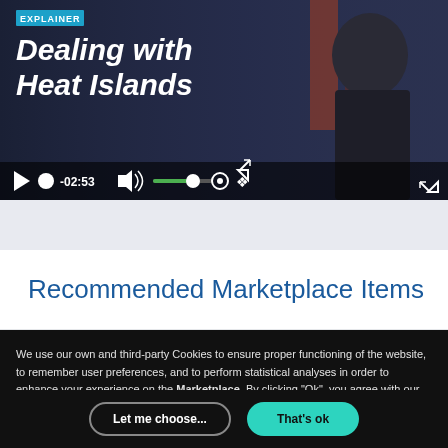[Figure (screenshot): Video player showing an explainer video titled 'Dealing with Heat Islands' with controls bar showing -02:53 timestamp, volume, settings and fullscreen icons]
Recommended Marketplace Items
We use our own and third-party Cookies to ensure proper functioning of the website, to remember user preferences, and to perform statistical analyses in order to enhance your experience on the Marketplace. By clicking "Ok", you agree with our Cookie Policy.
Let me choose...
That's ok